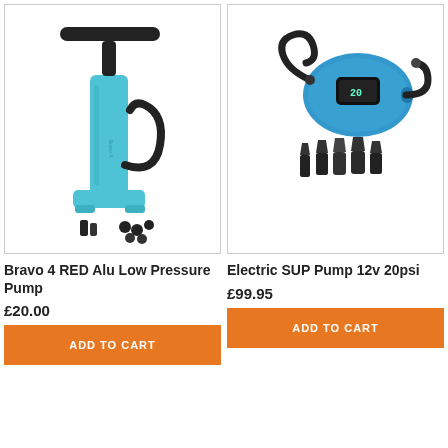[Figure (photo): Bravo 4 RED Alu Low Pressure Pump product image showing a light blue manual hand pump with black T-bar handle, flexible hose, and multiple nozzle attachments on white background]
Bravo 4 RED Alu Low Pressure Pump
£20.00
ADD TO CART
[Figure (photo): Electric SUP Pump 12v 20psi product image showing a blue electric pump unit with digital display, black coiled hose, and multiple nozzle attachments on white background]
Electric SUP Pump 12v 20psi
£99.95
ADD TO CART